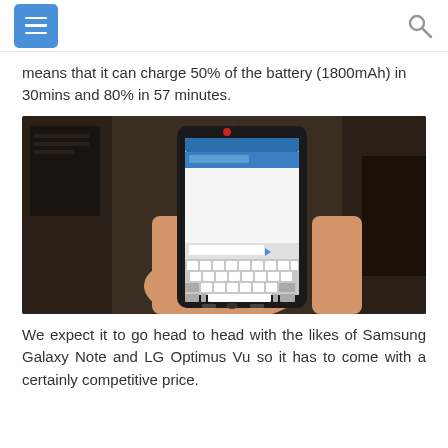[menu] [search]
means that it can charge 50% of the battery (1800mAh) in 30mins and 80% in 57 minutes.
[Figure (photo): A hand holding a black Android smartphone displaying a messaging app with keyboard visible, with cables and dark background.]
We expect it to go head to head with the likes of Samsung Galaxy Note and LG Optimus Vu so it has to come with a certainly competitive price.